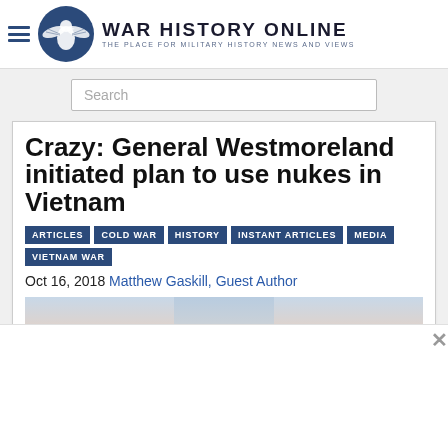[Figure (logo): War History Online website header with hamburger menu icon, circular eagle emblem logo, site name 'WAR HISTORY ONLINE' and tagline 'THE PLACE FOR MILITARY HISTORY NEWS AND VIEWS']
[Figure (screenshot): Search bar input field with placeholder text 'Search']
Crazy: General Westmoreland initiated plan to use nukes in Vietnam
ARTICLES
COLD WAR
HISTORY
INSTANT ARTICLES
MEDIA
VIETNAM WAR
Oct 16, 2018 Matthew Gaskill, Guest Author
[Figure (photo): Partial photo of a person's face/head, appears to be a military figure, with a sky background visible]